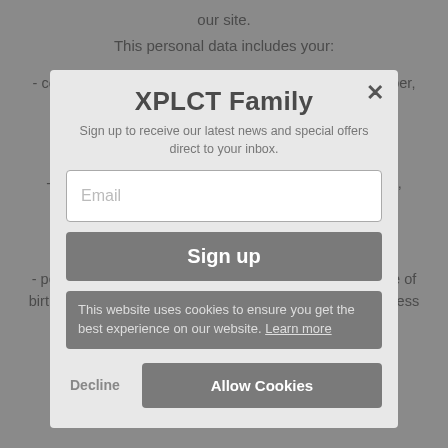our site.
This personal data includes your:
- contact details, including name, e-mail, telephone number, delivery and billing address;
- login and account information, including screen name, password and unique customer ID;
- personal data including gender, place of residence, date of birth and purchase history, including data such as IP address and customer number;
XPLCT Family
Sign up to receive our latest news and special offers direct to your inbox.
Email
Sign up
This website uses cookies to ensure you get the best experience on our website. Learn more
Decline
Allow Cookies